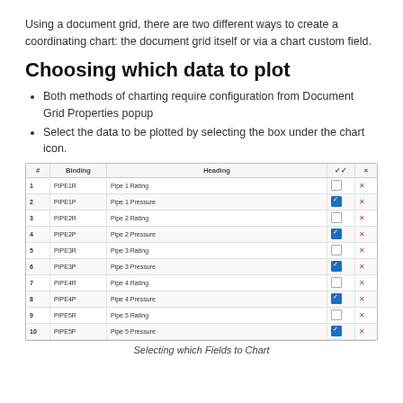Using a document grid, there are two different ways to create a coordinating chart: the document grid itself or via a chart custom field.
Choosing which data to plot
Both methods of charting require configuration from Document Grid Properties popup
Select the data to be plotted by selecting the box under the chart icon.
| # | Binding | Heading | ✓ | × |
| --- | --- | --- | --- | --- |
| 1 | PIPE1R | Pipe 1 Rating | unchecked | × |
| 2 | PIPE1P | Pipe 1 Pressure | checked | × |
| 3 | PIPE2R | Pipe 2 Rating | unchecked | × |
| 4 | PIPE2P | Pipe 2 Pressure | checked | × |
| 5 | PIPE3R | Pipe 3 Rating | unchecked | × |
| 6 | PIPE3P | Pipe 3 Pressure | checked | × |
| 7 | PIPE4R | Pipe 4 Rating | unchecked | × |
| 8 | PIPE4P | Pipe 4 Pressure | checked | × |
| 9 | PIPE5R | Pipe 5 Rating | unchecked | × |
| 10 | PIPE5P | Pipe 5 Pressure | checked | × |
Selecting which Fields to Chart